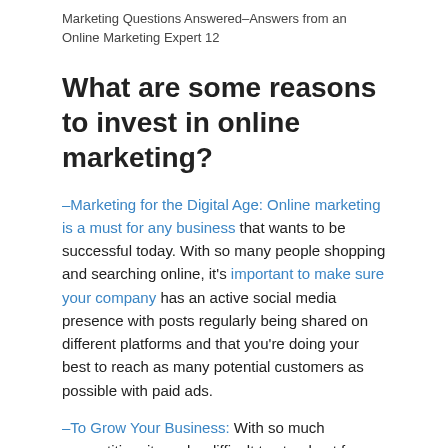Marketing Questions Answered–Answers from an Online Marketing Expert 12
What are some reasons to invest in online marketing?
–Marketing for the Digital Age: Online marketing is a must for any business that wants to be successful today. With so many people shopping and searching online, it's important to make sure your company has an active social media presence with posts regularly being shared on different platforms and that you're doing your best to reach as many potential customers as possible with paid ads.
–To Grow Your Business: With so much competition, it can be difficult to stand out from the crowd and attract new customers when most of them are used to seeing digital advertisements around them. But when...